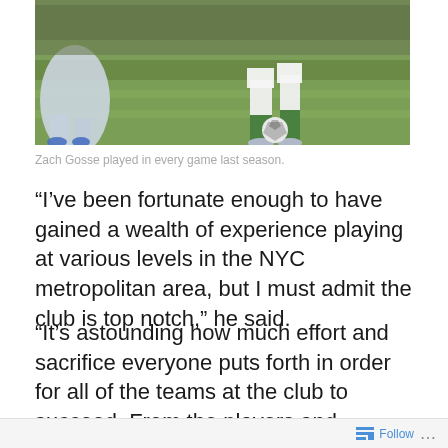[Figure (photo): Soccer player in green and white uniform dribbling a ball on a grass field, with another player's legs visible in the left foreground]
Zach Gosse played in every game last season.
“I’ve been fortunate enough to have gained a wealth of experience playing at various levels in the NYC metropolitan area, but I must admit the club is top notch,” he said.
“It’s astounding how much effort and sacrifice everyone puts forth in order for all of the teams at the club to succeed. From the players and coaches to the board members and supporters, the desire for ‘The Rocks’ to win has become infectious.
Follow ...